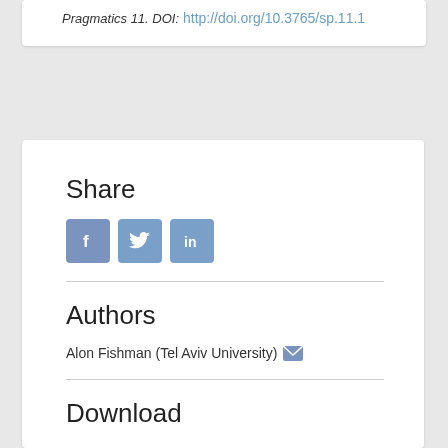Pragmatics 11. DOI: http://doi.org/10.3765/sp.11.1
Share
[Figure (other): Social media share buttons for Facebook, Twitter, and LinkedIn]
Authors
Alon Fishman (Tel Aviv University)
Download
Download XML
Download PDF
Issue